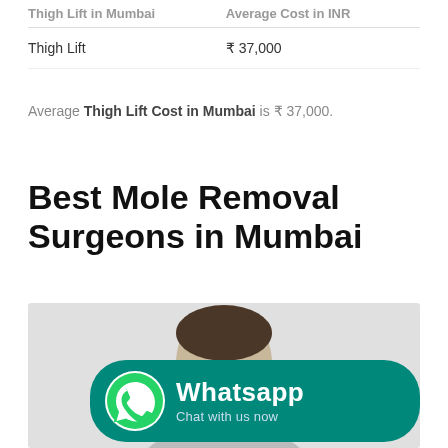| Thigh Lift in Mumbai | Average Cost in INR |
| --- | --- |
| Thigh Lift | ₹ 37,000 |
Average Thigh Lift Cost in Mumbai is ₹ 37,000.
Best Mole Removal Surgeons in Mumbai
[Figure (photo): A male face photo with a WhatsApp promotional banner overlay. The banner shows the WhatsApp logo and text 'Whatsapp Chat with us now' on a teal/green background.]